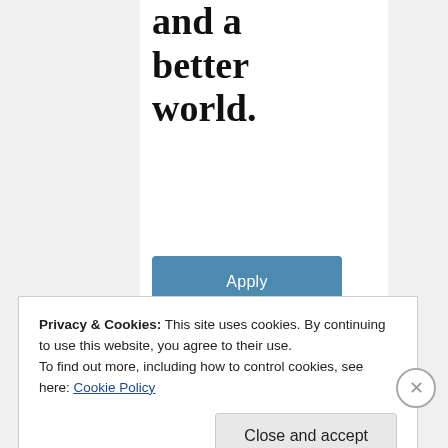and a better world.
[Figure (other): Apply button - blue rounded rectangle with white text 'Apply']
[Figure (photo): Circular photo of a smiling young man wearing glasses, partially visible at bottom of center column]
Privacy & Cookies: This site uses cookies. By continuing to use this website, you agree to their use.
To find out more, including how to control cookies, see here: Cookie Policy
[Figure (other): Close and accept button - light gray rounded rectangle]